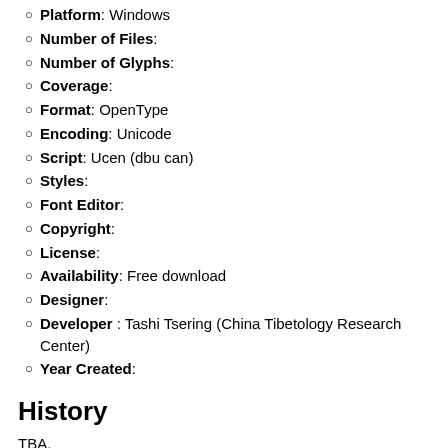Platform: Windows
Number of Files:
Number of Glyphs:
Coverage:
Format: OpenType
Encoding: Unicode
Script: Ucen (dbu can)
Styles:
Font Editor:
Copyright:
License:
Availability: Free download
Designer:
Developer : Tashi Tsering (China Tibetology Research Center)
Year Created:
History
TBA.
Provided for unrestricted use by the » Tibetan and Himalayan Library